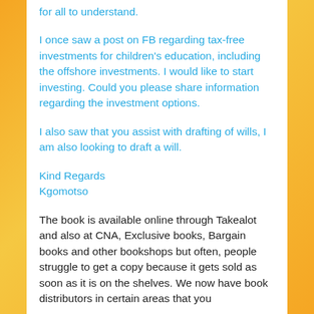for all to understand.
I once saw a post on FB regarding tax-free investments for children's education, including the offshore investments. I would like to start investing. Could you please share information regarding the investment options.
I also saw that you assist with drafting of wills, I am also looking to draft a will.
Kind Regards
Kgomotso
The book is available online through Takealot and also at CNA, Exclusive books, Bargain books and other bookshops but often, people struggle to get a copy because it gets sold as soon as it is on the shelves. We now have book distributors in certain areas that you